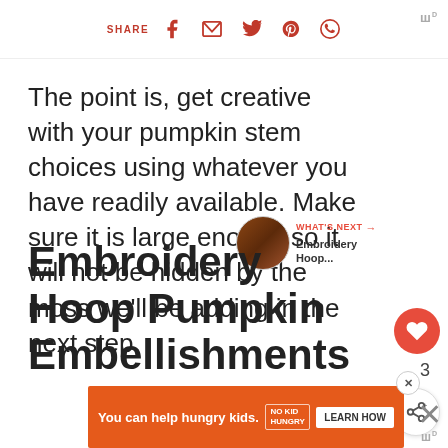SHARE [social icons: Facebook, Email, Twitter, Pinterest, WhatsApp]
The point is, get creative with your pumpkin stem choices using whatever you have readily available. Make sure it is large enough so it will not be hidden by the moss we'll be adding in the next step.
Embroidery Hoop Pumpkin Embellishments